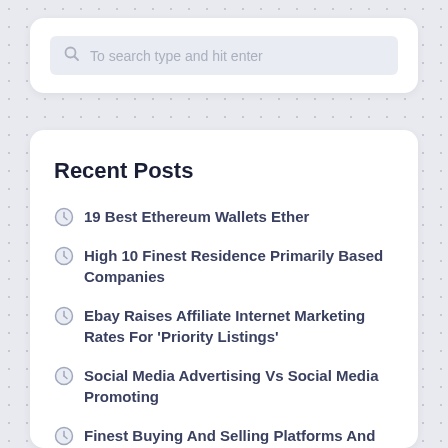[Figure (screenshot): Search box with placeholder text 'To search type and hit enter' and a magnifying glass icon]
Recent Posts
19 Best Ethereum Wallets Ether
High 10 Finest Residence Primarily Based Companies
Ebay Raises Affiliate Internet Marketing Rates For 'Priority Listings'
Social Media Advertising Vs Social Media Promoting
Finest Buying And Selling Platforms And On-line Brokers 2021